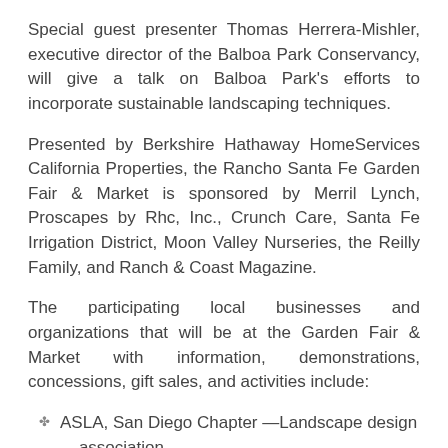Special guest presenter Thomas Herrera-Mishler, executive director of the Balboa Park Conservancy, will give a talk on Balboa Park's efforts to incorporate sustainable landscaping techniques.
Presented by Berkshire Hathaway HomeServices California Properties, the Rancho Santa Fe Garden Fair & Market is sponsored by Merril Lynch, Proscapes by Rhc, Inc., Crunch Care, Santa Fe Irrigation District, Moon Valley Nurseries, the Reilly Family, and Ranch & Coast Magazine.
The participating local businesses and organizations that will be at the Garden Fair & Market with information, demonstrations, concessions, gift sales, and activities include:
ASLA, San Diego Chapter —Landscape design association
Bushman USA — Rainwater harvesting products
ECOLIFE Conservancy — Aquaponics lecture and